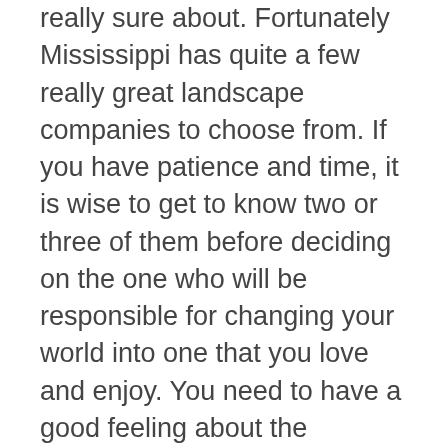really sure about. Fortunately Mississippi has quite a few really great landscape companies to choose from. If you have patience and time, it is wise to get to know two or three of them before deciding on the one who will be responsible for changing your world into one that you love and enjoy. You need to have a good feeling about the landscape architect. You need to feel like they are listening to you about your lifestyle and the goals of the project and hear you loud and clear about your budget. You be assured you are working with a reputable company and one you will have a great relationship with well after the project is complete. You want to be able to use the same architect over and over again to keep